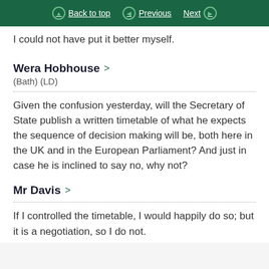Back to top | Previous | Next
I could not have put it better myself.
Wera Hobhouse
(Bath) (LD)
Given the confusion yesterday, will the Secretary of State publish a written timetable of what he expects the sequence of decision making will be, both here in the UK and in the European Parliament? And just in case he is inclined to say no, why not?
Mr Davis
If I controlled the timetable, I would happily do so; but it is a negotiation, so I do not.